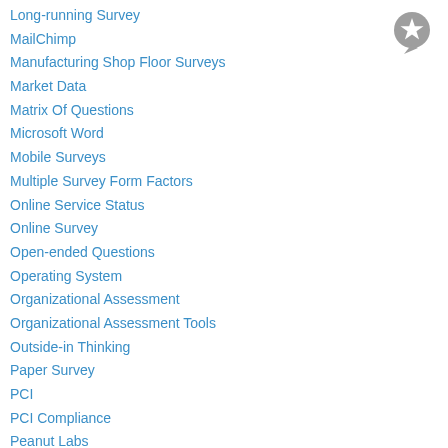Long-running Survey
MailChimp
Manufacturing Shop Floor Surveys
Market Data
Matrix Of Questions
Microsoft Word
Mobile Surveys
Multiple Survey Form Factors
Online Service Status
Online Survey
Open-ended Questions
Operating System
Organizational Assessment
Organizational Assessment Tools
Outside-in Thinking
Paper Survey
PCI
PCI Compliance
Peanut Labs
Personal Engagement
Pitfalls
[Figure (logo): Gray circular icon with a white star and speech bubble tail]